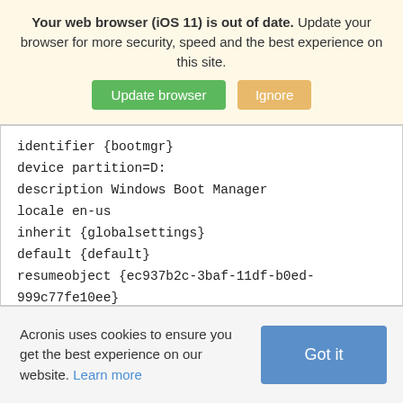Your web browser (iOS 11) is out of date. Update your browser for more security, speed and the best experience on this site. [Update browser] [Ignore]
identifier {bootmgr}
device partition=D:
description Windows Boot Manager
locale en-us
inherit {globalsettings}
default {default}
resumeobject {ec937b2c-3baf-11df-b0ed-999c77fe10ee}
displayorder {default}
Acronis uses cookies to ensure you get the best experience on our website. Learn more [Got it]